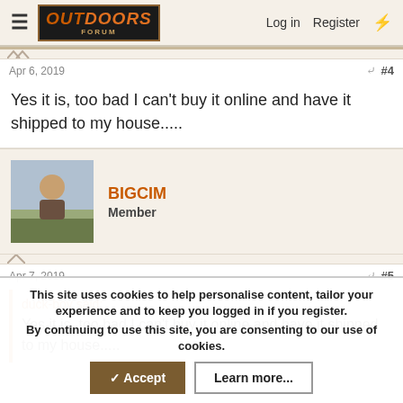Outdoors Forum — Log in  Register
Apr 6, 2019  #4
Yes it is, too bad I can't buy it online and have it shipped to my house.....
BIGCIM
Member
Apr 7, 2019  #5
duck-boy said:
Yes it is, too bad I can't buy it online and have it shipped to my house.....
This site uses cookies to help personalise content, tailor your experience and to keep you logged in if you register.
By continuing to use this site, you are consenting to our use of cookies.